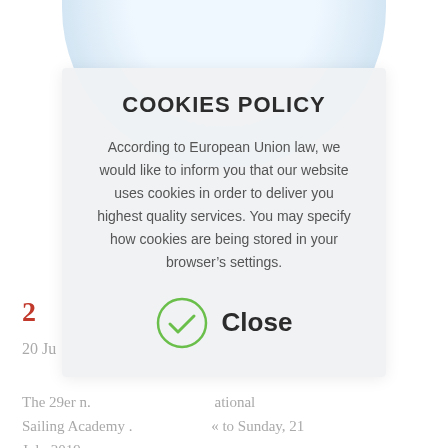[Figure (screenshot): Background image of water/sailing scene with sky, partially obscured by cookie policy overlay]
COOKIES POLICY
According to European Union law, we would like to inform you that our website uses cookies in order to deliver you highest quality services. You may specify how cookies are being stored in your browser’s settings.
Close
2
20 Ju
The 29er n. — ́tional Sailing Academy . — ’ to Sunday, 21 July 2019